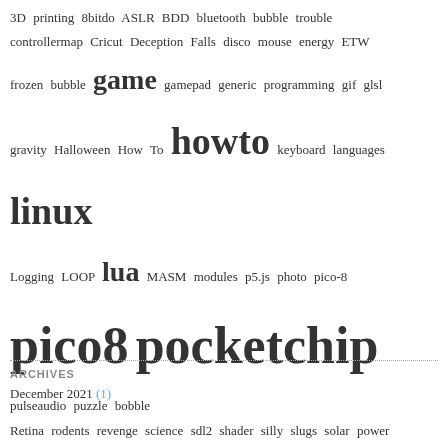3D printing 8bitdo ASLR BDD bluetooth bubble trouble controllermap Cricut Deception Falls disco mouse energy ETW frozen bubble game gamepad generic programming gif glsl gravity Halloween How To howto keyboard languages linux Logging LOOP lua MASM modules p5.js photo pico-8 pico8 pocketchip pulseaudio puzzle bobble Retina rodents revenge science sdl2 shader silly slugs solar power spooky stack cookie stack exploits testing toy trebuchet udev Visual Studio waterfall wip
ARCHIVES
December 2021 (1)